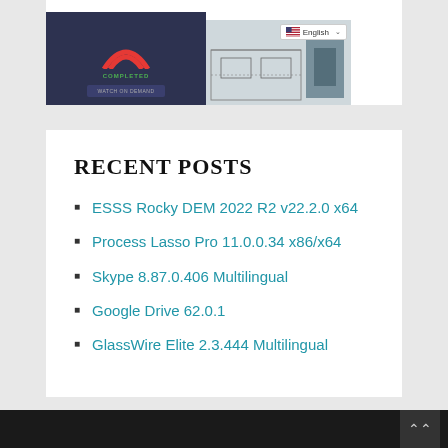[Figure (screenshot): Top section showing two images: left is a dark UI panel with a logo and COMPLETED label and WATCH ON DEMAND button; right shows an engineering drawing with a language selector showing English flag and dropdown.]
RECENT POSTS
ESSS Rocky DEM 2022 R2 v22.2.0 x64
Process Lasso Pro 11.0.0.34 x86/x64
Skype 8.87.0.406 Multilingual
Google Drive 62.0.1
GlassWire Elite 2.3.444 Multilingual